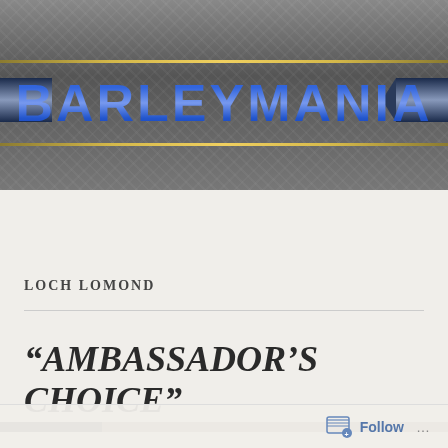[Figure (logo): BarleyMania website logo with blue and gold text on dark grey stadium background with arrow-shaped banners on sides]
MENU
LOCH LOMOND
“AMBASSADOR’S CHOICE”
Follow